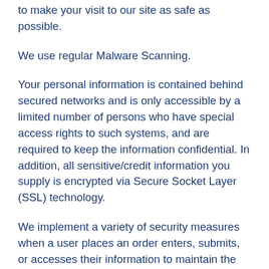to make your visit to our site as safe as possible.
We use regular Malware Scanning.
Your personal information is contained behind secured networks and is only accessible by a limited number of persons who have special access rights to such systems, and are required to keep the information confidential. In addition, all sensitive/credit information you supply is encrypted via Secure Socket Layer (SSL) technology.
We implement a variety of security measures when a user places an order enters, submits, or accesses their information to maintain the safety of your personal information.